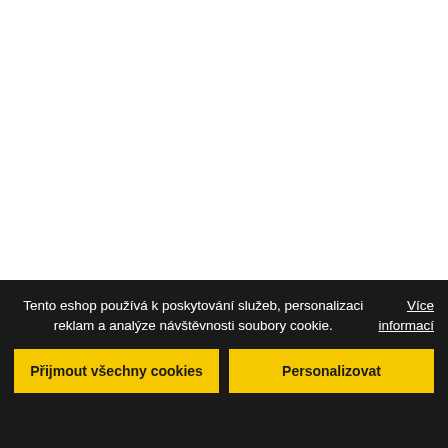Tento eshop používá k poskytování služeb, personalizaci reklam a analýze návštěvnosti soubory cookie.
Více informací
Přijmout všechny cookies
Personalizovat